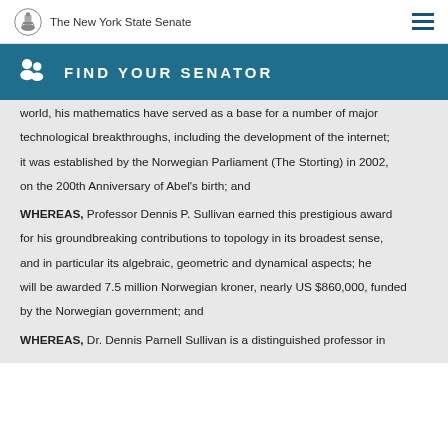The New York State Senate
FIND YOUR SENATOR
world, his mathematics have served as a base for a number of major technological breakthroughs, including the development of the internet; it was established by the Norwegian Parliament (The Storting) in 2002, on the 200th Anniversary of Abel's birth; and
WHEREAS, Professor Dennis P. Sullivan earned this prestigious award for his groundbreaking contributions to topology in its broadest sense, and in particular its algebraic, geometric and dynamical aspects; he will be awarded 7.5 million Norwegian kroner, nearly US $860,000, funded by the Norwegian government; and
WHEREAS, Dr. Dennis Parnell Sullivan is a distinguished professor in